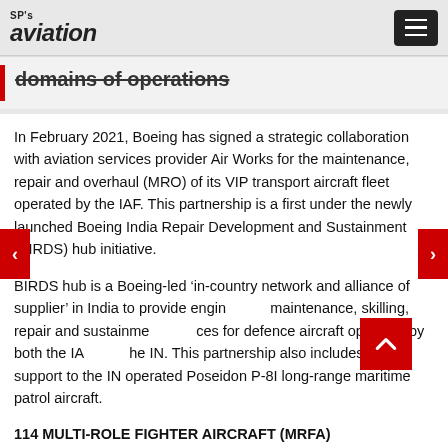SP's aviation
domains of operations
In February 2021, Boeing has signed a strategic collaboration with aviation services provider Air Works for the maintenance, repair and overhaul (MRO) of its VIP transport aircraft fleet operated by the IAF. This partnership is a first under the newly launched Boeing India Repair Development and Sustainment (BIRDS) hub initiative.
BIRDS hub is a Boeing-led ‘in-country network and alliance of supplier’ in India to provide engineering maintenance, skilling, repair and sustainment services for defence aircraft operated by both the IAF and the IN. This partnership also includes MRO support to the IN operated Poseidon P-8I long-range maritime patrol aircraft.
114 MULTI-ROLE FIGHTER AIRCRAFT (MRFA)